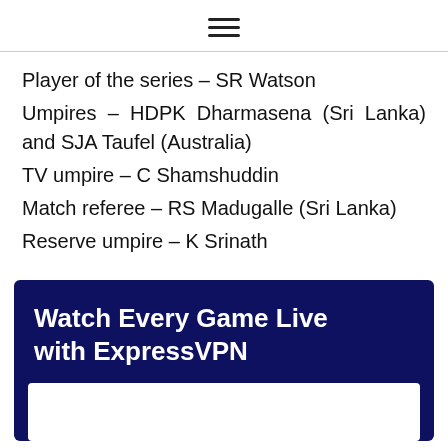≡
Player of the series – SR Watson
Umpires – HDPK Dharmasena (Sri Lanka) and SJA Taufel (Australia)
TV umpire – C Shamshuddin
Match referee – RS Madugalle (Sri Lanka)
Reserve umpire – K Srinath
[Figure (other): Dark navy blue advertisement box with white bold text 'Watch Every Game Live with ExpressVPN' and a white content area below]